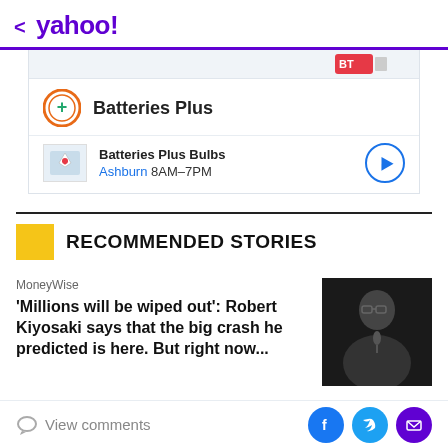< yahoo!
[Figure (screenshot): Batteries Plus advertisement banner showing logo and Batteries Plus Bulbs location in Ashburn 8AM-7PM with map thumbnail and navigation arrow]
RECOMMENDED STORIES
MoneyWise
'Millions will be wiped out': Robert Kiyosaki says that the big crash he predicted is here. But right now...
[Figure (photo): Photo of a heavyset man with glasses in dark suit holding a microphone]
View comments